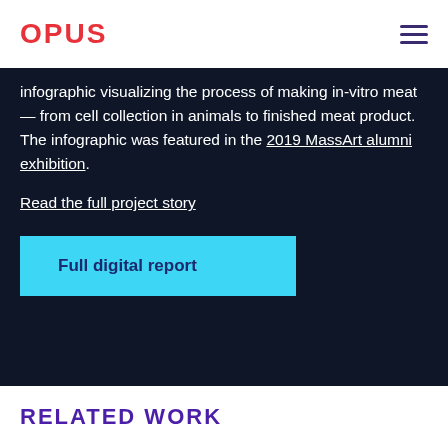OPUS
infographic visualizing the process of making in-vitro meat — from cell collection in animals to finished meat product. The infographic was featured in the 2019 MassArt alumni exhibition.
Read the full project story
Full digital report
RELATED WORK